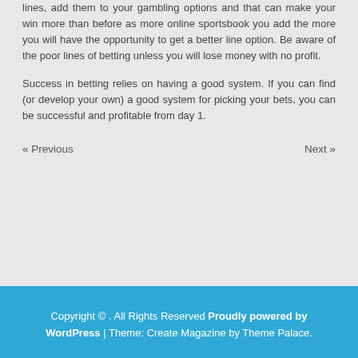lines, add them to your gambling options and that can make your win more than before as more online sportsbook you add the more you will have the opportunity to get a better line option. Be aware of the poor lines of betting unless you will lose money with no profit.
Success in betting relies on having a good system. If you can find (or develop your own) a good system for picking your bets, you can be successful and profitable from day 1.
« Previous    Next »
Copyright © . All Rights Reserved Proudly powered by WordPress | Theme: Create Magazine by Theme Palace.